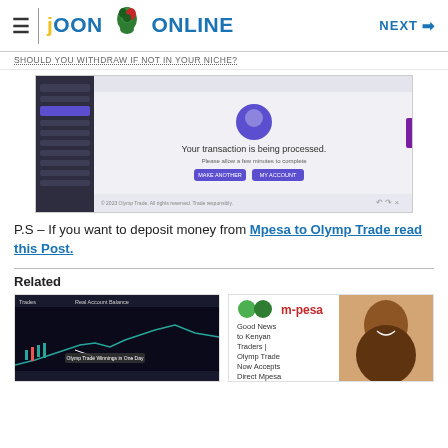JOON ONLINE  NEXT →
Should You Withdraw If Not In Your Niche?
[Figure (screenshot): Screenshot of Olymp Trade platform showing 'Your transaction is being processed' message with a dark sidebar navigation and transaction confirmation screen]
P.S – If you want to deposit money from Mpesa to Olymp Trade read this Post.
Related
[Figure (screenshot): Screenshot of Olymp Trade platform showing trading charts with annotation 'Olymp Trade Winnings in One Day']
[Figure (screenshot): Good News to Kenyan Traders | Olymp Trade Now Accepts Direct Mpesa - image with m-pesa logo and smiling woman]